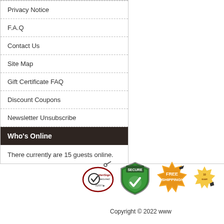Privacy Notice
F.A.Q
Contact Us
Site Map
Gift Certificate FAQ
Discount Coupons
Newsletter Unsubscribe
Who's Online
There currently are 15 guests online.
[Figure (logo): VeriSign Secured badge, Secure shield badge, Free Shipping badge, and partially visible satisfaction guarantee badge]
Copyright © 2022 www